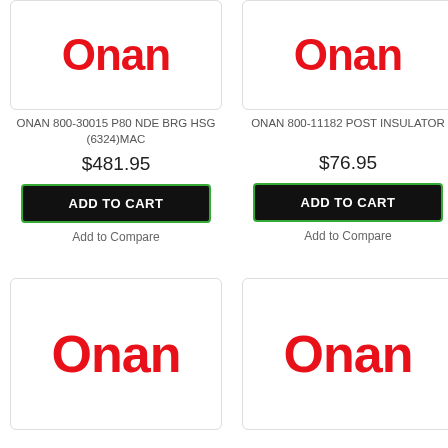[Figure (logo): Onan brand logo in red, top-left product card, partially cropped at top]
ONAN 800-30015 P80 NDE BRG HSG (6324)MAC
$481.95
ADD TO CART
Add to Compare
[Figure (logo): Onan brand logo in red, top-right product card, partially cropped at top]
ONAN 800-11182 POST INSULATOR
$76.95
ADD TO CART
Add to Compare
[Figure (logo): Onan brand logo in red, bottom-left product card]
[Figure (logo): Onan brand logo in red, bottom-right product card]